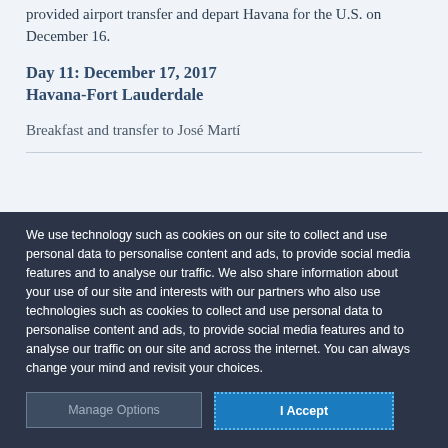provided airport transfer and depart Havana for the U.S. on December 16.
Day 11: December 17, 2017
Havana-Fort Lauderdale
Breakfast and transfer to José Martí
We use technology such as cookies on our site to collect and use personal data to personalise content and ads, to provide social media features and to analyse our traffic. We also share information about your use of our site and interests with our partners who also use technologies such as cookies to collect and use personal data to personalise content and ads, to provide social media features and to analyse our traffic on our site and across the internet. You can always change your mind and revisit your choices.